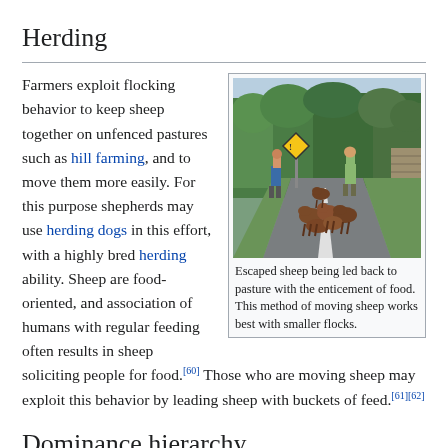Herding
Farmers exploit flocking behavior to keep sheep together on unfenced pastures such as hill farming, and to move them more easily. For this purpose shepherds may use herding dogs in this effort, with a highly bred herding ability. Sheep are food-oriented, and association of humans with regular feeding often results in sheep soliciting people for food.[60] Those who are moving sheep may exploit this behavior by leading sheep with buckets of feed.[61][62]
[Figure (photo): Escaped sheep being led back to pasture on a rural road, with two people herding them. A yellow warning sign is visible. Trees line the road.]
Escaped sheep being led back to pasture with the enticement of food. This method of moving sheep works best with smaller flocks.
Dominance hierarchy